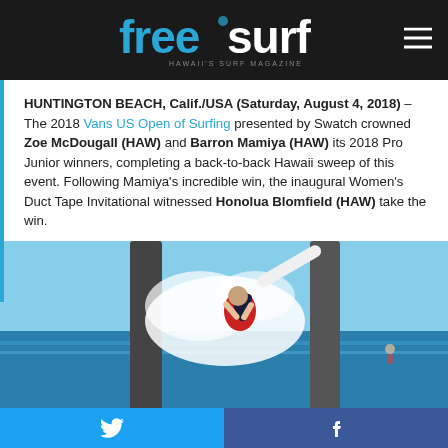freesurf — Hawaii's Surf Magazine
HUNTINGTON BEACH, Calif./USA (Saturday, August 4, 2018) – The 2018 Vans US Open of Surfing presented by Swatch crowned Zoe McDougall (HAW) and Barron Mamiya (HAW) its 2018 Pro Junior winners, completing a back-to-back Hawaii sweep of this event. Following Mamiya's incredible win, the inaugural Women's Duct Tape Invitational witnessed Honolua Blomfield (HAW) take the win.
[Figure (photo): Surfer performing aerial maneuver near pier pilings, with ocean spray and blue water in background. Surfer wearing red vest.]